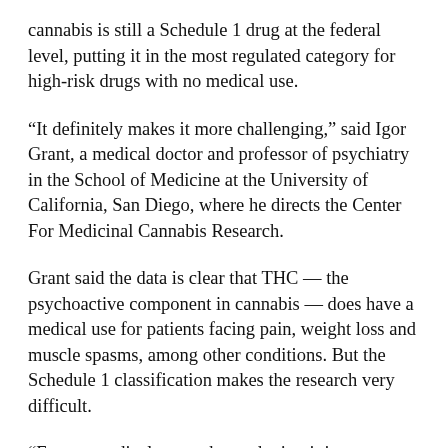cannabis is still a Schedule 1 drug at the federal level, putting it in the most regulated category for high-risk drugs with no medical use.
“It definitely makes it more challenging,” said Igor Grant, a medical doctor and professor of psychiatry in the School of Medicine at the University of California, San Diego, where he directs the Center For Medicinal Cannabis Research.
Grant said the data is clear that THC — the psychoactive component in cannabis — does have a medical use for patients facing pain, weight loss and muscle spasms, among other conditions. But the Schedule 1 classification makes the research very difficult.
“From a medical research standpoint, it is not an